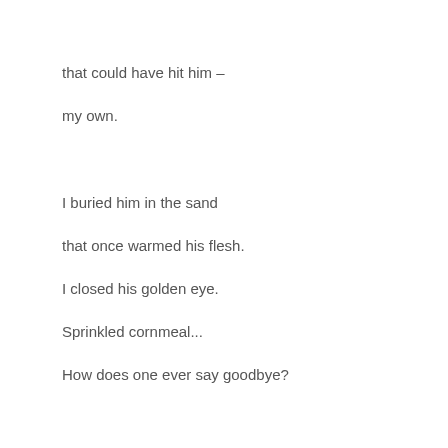that could have hit him –
my own.
I buried him in the sand
that once warmed his flesh.
I closed his golden eye.
Sprinkled cornmeal...
How does one ever say goodbye?